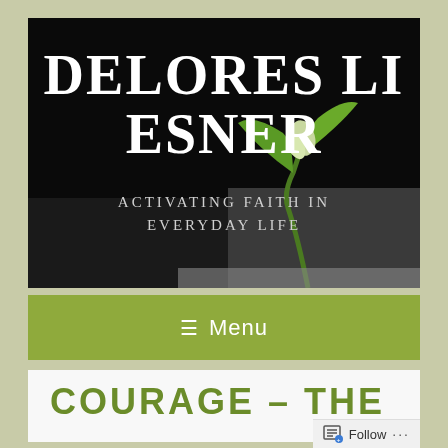[Figure (screenshot): Website header banner for Delores Liesner blog. Dark/black background with a green plant sprout visible at bottom right. Large white bold text reads 'DELORES LIESNER' and subtitle text reads 'ACTIVATING FAITH IN EVERYDAY LIFE'.]
DELORES LIESNER
ACTIVATING FAITH IN EVERYDAY LIFE
≡ Menu
COURAGE – THE
Follow ···